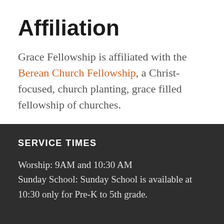Affiliation
Grace Fellowship is affiliated with the Berean Church Fellowship, a Christ-focused, church planting, grace filled fellowship of churches.
SERVICE TIMES
Worship: 9AM and 10:30 AM
Sunday School: Sunday School is available at 10:30 only for Pre-K to 5th grade.